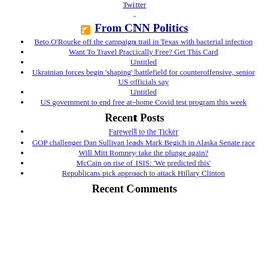Twitter
.
From CNN Politics
Beto O'Rourke off the campaign trail in Texas with bacterial infection
Want To Travel Practically Free? Get This Card
Untitled
Ukrainian forces begin 'shaping' battlefield for counteroffensive, senior US officials say
Untitled
US government to end free at-home Covid test program this week
Recent Posts
Farewell to the Ticker
GOP challenger Dan Sullivan leads Mark Begich in Alaska Senate race
Will Mitt Romney take the plunge again?
McCain on rise of ISIS: 'We predicted this'
Republicans pick approach to attack Hillary Clinton
Recent Comments